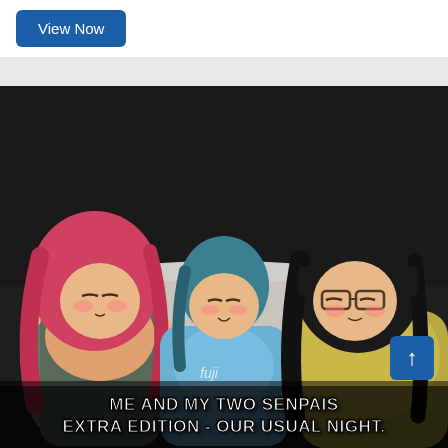View Now
[Figure (illustration): Manga/anime style illustration of three characters sleeping side by side: a woman with long pink hair on the left wearing a gray tank top, a smaller character with short teal hair in the center wearing a blue shirt, and a woman with long black hair and glasses on the right wearing a yellow shirt. They appear to be lying on a couch or bed.]
ME AND MY TWO SENPAIS EXTRA EDITION - OUR USUAL NIGHT.